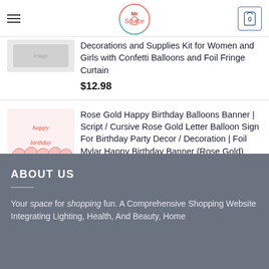[Figure (screenshot): Hamburger menu icon (three horizontal lines)]
[Figure (logo): Mr Space logo in a circle with teal and coral outline]
[Figure (screenshot): Shopping cart icon with 0 badge]
Decorations and Supplies Kit for Women and Girls with Confetti Balloons and Foil Fringe Curtain
$12.98
[Figure (photo): Rose gold happy birthday balloon letters photo]
Rose Gold Happy Birthday Balloons Banner | Script / Cursive Rose Gold Letter Balloon Sign For Birthday Party Decor / Decoration | Foil Mylar Happy Birthday Banner (Rose Gold)
$14.95  $9.97
[Figure (photo): Blue/teal wide-leg pants on model]
Roxy Women's Oceanside Pant
$18.78
ABOUT US
Your space for shopping fun. A Comprehensive Shopping Website Integrating Lighting, Health, And Beauty, Home